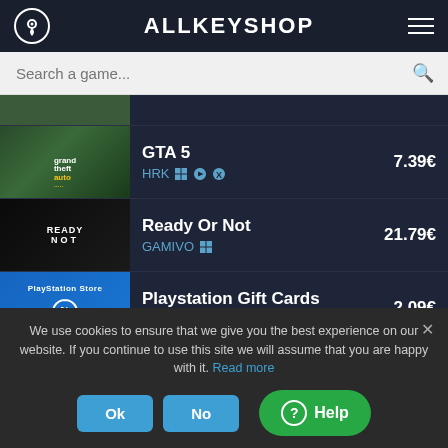ALLKEYSHOP
Search a game...
GTA 5 | HRK | 7.39€
Ready Or Not | GAMIVO | 21.79€
Playstation Gift Cards | Eneba | 2.09€
Microsoft Office 2019 Professional... | Pixelcodes | 2.38€
Project Zomboid | Kinauin | 5.80€
We use cookies to ensure that we give you the best experience on our website. If you continue to use this site we will assume that you are happy with it. Read more
Ok | No | Help